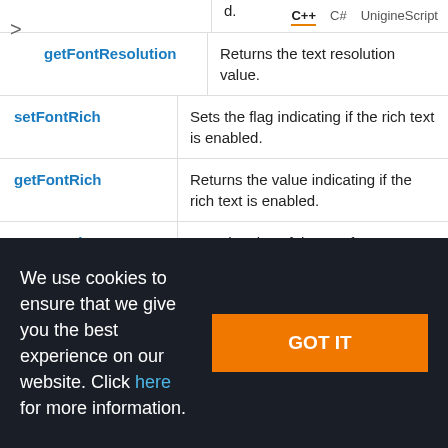| Method | Description |
| --- | --- |
| getFontResolution | Returns the text resolution value. |
| setFontRich | Sets the flag indicating if the rich text is enabled. |
| getFontRich | Returns the value indicating if the rich text is enabled. |
| setFontSize | Sets the size of the text font. |
| getFontSize | Returns the text font size. |
We use cookies to ensure that we give you the best experience on our website. Click here for more information.